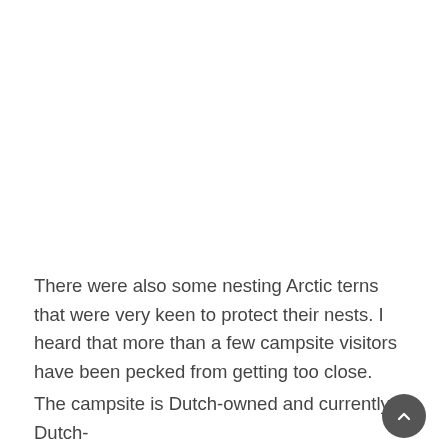There were also some nesting Arctic terns that were very keen to protect their nests. I heard that more than a few campsite visitors have been pecked from getting too close.
The campsite is Dutch-owned and currently Dutch-